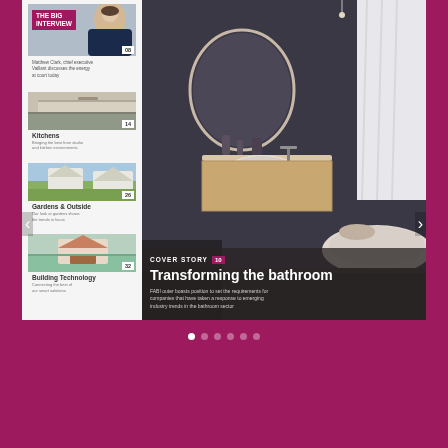[Figure (screenshot): Magazine slider/carousel UI on a dark magenta/crimson background. Left panel shows table of contents with thumbnail images for: The Big Interview (page 08), Kitchens (page 14), Gardens & Outside (page 26), Building Technology (page 32). Right panel shows a luxurious bathroom as the Cover Story (page 10) titled 'Transforming the bathroom' with description text. Navigation arrows on sides and pagination dots below.]